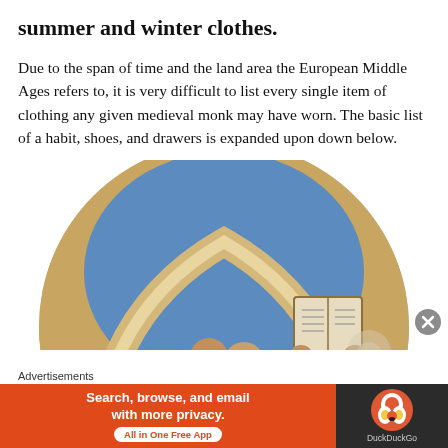summer and winter clothes.
Due to the span of time and the land area the European Middle Ages refers to, it is very difficult to list every single item of clothing any given medieval monk may have worn. The basic list of a habit, shoes, and drawers is expanded upon down below.
[Figure (illustration): Circular-cropped medieval illuminated manuscript illustration showing monks in dark robes looking at an open book being held up, with a blue arch and gold background.]
Advertisements
[Figure (other): DuckDuckGo advertisement banner. Left orange section reads 'Search, browse, and email with more privacy. All in One Free App'. Right dark section shows DuckDuckGo duck logo and name.]